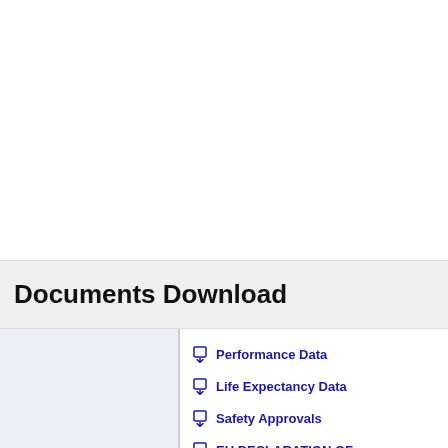Documents Download
Technical Data
Performance Data
Life Expectancy Data
Safety Approvals
EU DECLARATION OF
UK DECLARATION OF